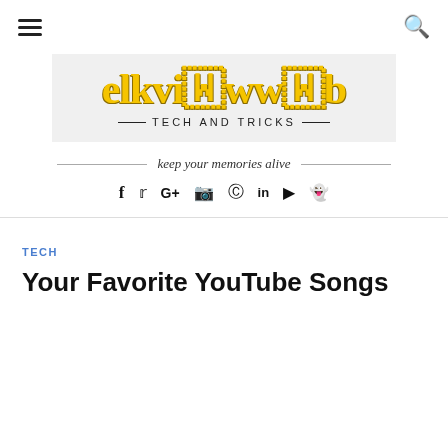[Figure (logo): elkviewweb Tech and Tricks logo with hamburger menu icon and search icon navigation bar]
keep your memories alive
[Figure (infographic): Social media icons row: Facebook, Twitter, Google+, Instagram, Pinterest, LinkedIn, YouTube, Snapchat]
TECH
Your Favorite YouTube Songs